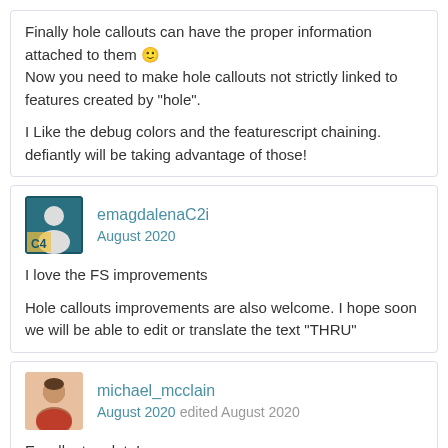Finally hole callouts can have the proper information attached to them 🙂
Now you need to make hole callouts not strictly linked to features created by "hole".

I Like the debug colors and the featurescript chaining. defiantly will be taking advantage of those!
emagdalenaC2i
August 2020
I love the FS improvements

Hole callouts improvements are also welcome. I hope soon we will be able to edit or translate the text "THRU"
michael_mcclain
August 2020 edited August 2020
Excellent update!